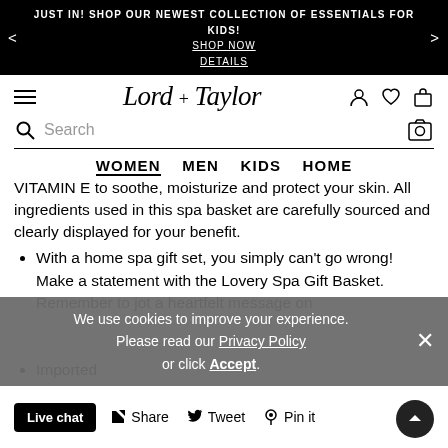JUST IN! SHOP OUR NEWEST COLLECTION OF ESSENTIALS FOR KIDS! SHOP NOW DETAILS
[Figure (logo): Lord & Taylor script logo with hamburger menu and nav icons (user, heart, bag)]
Search
WOMEN MEN KIDS HOME
VITAMIN E to soothe, moisturize and protect your skin. All ingredients used in this spa basket are carefully sourced and clearly displayed for your benefit.
With a home spa gift set, you simply can't go wrong! Make a statement with the Lovery Spa Gift Basket. Remember to jot a heartfelt message on
Imported
We use cookies to improve your experience. Please read our Privacy Policy or click Accept.
Live chat  Share  Tweet  Pin it